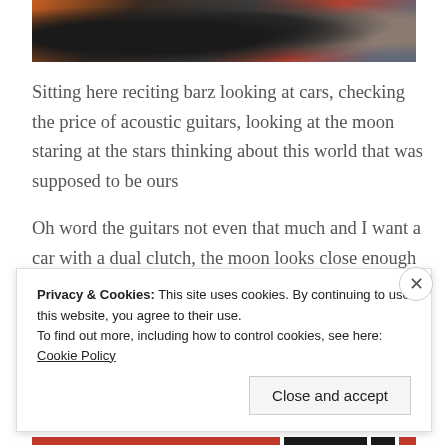[Figure (photo): Partial photo of people wearing masks and colorful clothing, cropped at the bottom]
Sitting here reciting barz looking at cars, checking the price of acoustic guitars, looking at the moon staring at the stars thinking about this world that was supposed to be ours
Oh word the guitars not even that much and I want a car with a dual clutch, the moon looks close enough to touch, I wonder if you’re happy with such and such
Privacy & Cookies: This site uses cookies. By continuing to use this website, you agree to their use.
To find out more, including how to control cookies, see here: Cookie Policy
Close and accept